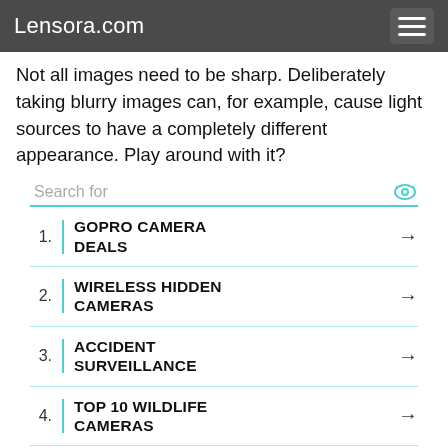Lensora.com
Not all images need to be sharp. Deliberately taking blurry images can, for example, cause light sources to have a completely different appearance. Play around with it?
1. GOPRO CAMERA DEALS
2. WIRELESS HIDDEN CAMERAS
3. ACCIDENT SURVEILLANCE
4. TOP 10 WILDLIFE CAMERAS
[Figure (infographic): Orange banner advertisement: Help send medical aid to Ukraine >> with Direct Relief logo]